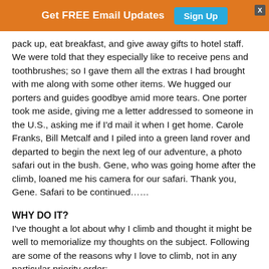Get FREE Email Updates  Sign Up
pack up, eat breakfast, and give away gifts to hotel staff. We were told that they especially like to receive pens and toothbrushes; so I gave them all the extras I had brought with me along with some other items. We hugged our porters and guides goodbye amid more tears. One porter took me aside, giving me a letter addressed to someone in the U.S., asking me if I'd mail it when I get home. Carole Franks, Bill Metcalf and I piled into a green land rover and departed to begin the next leg of our adventure, a photo safari out in the bush. Gene, who was going home after the climb, loaned me his camera for our safari. Thank you, Gene. Safari to be continued……
WHY DO IT?
I've thought a lot about why I climb and thought it might be well to memorialize my thoughts on the subject. Following are some of the reasons why I love to climb, not in any particular priority order: